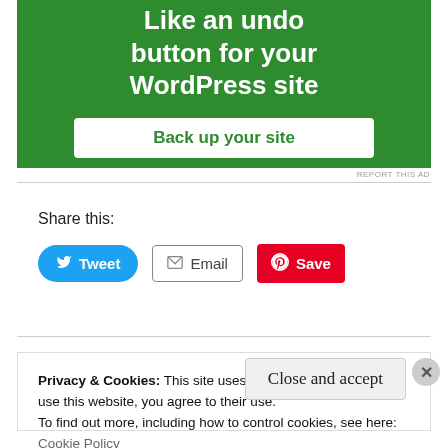[Figure (illustration): Green advertisement banner with white bold text reading 'Like an undo button for your WordPress site' and a white button labeled 'Back up your site']
REPORT THIS AD
Share this:
Tweet   Email   Save
Privacy & Cookies: This site uses cookies. By continuing to use this website, you agree to their use.
To find out more, including how to control cookies, see here:
Cookie Policy
Close and accept